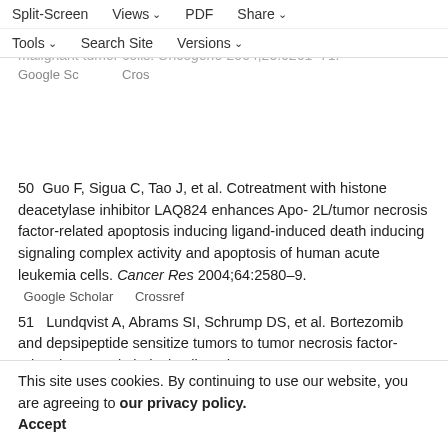upregulates death receptor 5/TRAIL-R2 and enhances apoptosis induced by TRAIL (APO2L) in human malignant tumor cells. Oncogene 2004;23:6261–71.
Google Scholar   Crossref
Split-Screen  Views  PDF  Share  Tools  Search Site  Versions
50  Guo F, Sigua C, Tao J, et al. Cotreatment with histone deacetylase inhibitor LAQ824 enhances Apo-2L/tumor necrosis factor-related apoptosis inducing ligand-induced death inducing signaling complex activity and apoptosis of human acute leukemia cells. Cancer Res 2004;64:2580–9.
Google Scholar     Crossref
51  Lundqvist A, Abrams SI, Schrump DS, et al. Bortezomib and depsipeptide sensitize tumors to tumor necrosis factor-related apoptosis-inducing ligand: a novel method to potentiate natural killer cell tumor cytotoxicity. Cancer Res 2006;66:7317–25.
Google Scholar     Crossref
52  Nencioni A, Beck J, Werth D, et al. Histone
This site uses cookies. By continuing to use our website, you are agreeing to our privacy policy. Accept